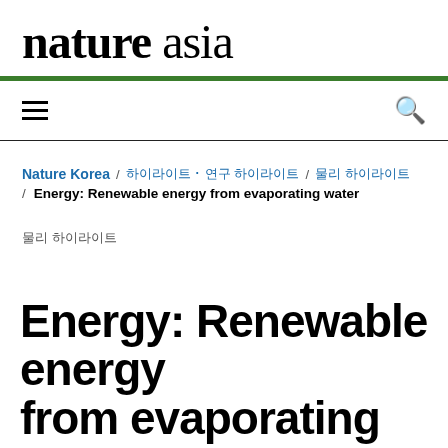nature asia
Nature Korea / 하이라이트 및 연구 하이라이트 / 물리 하이라이트
/ Energy: Renewable energy from evaporating water
물리 하이라이트
Energy: Renewable energy from evaporating water